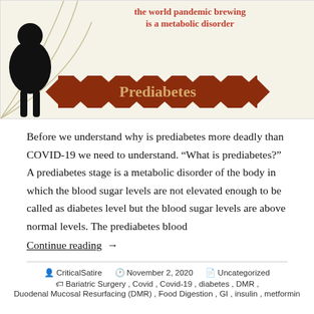[Figure (infographic): Infographic showing a silhouette of an obese person on the left with decorative curved lines. Text reads 'the world pandemic brewing is a metabolic disorder' in red/salmon color at the top. A large dark red spiky ribbon banner in the center reads 'Prediabetes' in gold/tan colored bold font.]
Before we understand why is prediabetes more deadly than COVID-19 we need to understand. “What is prediabetes?” A prediabetes stage is a metabolic disorder of the body in which the blood sugar levels are not elevated enough to be called as diabetes level but the blood sugar levels are above normal levels. The prediabetes blood
Continue reading  →
CriticalSatire   November 2, 2020   Uncategorized   Bariatric Surgery, Covid, Covid-19, diabetes, DMR, Duodenal Mucosal Resurfacing (DMR), Food Digestion, GI, insulin, metformin